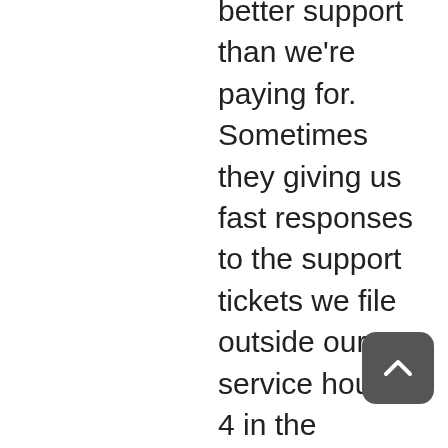better support than we're paying for. Sometimes they giving us fast responses to the support tickets we file outside our service hours at 4 in the morning or 9 at night. Other times, they give us quick but very effective consulting advice even though we only pay for support and not consulting. During a recent challenge, Tarus Balog worked with me until 11 at night, saying, “I’m not giving up on you and I’m not getting off the phone until you tell me this is done right.” As it turns out, the problem was caused by an error on my part, not a problem with OpenNMS, but the point is